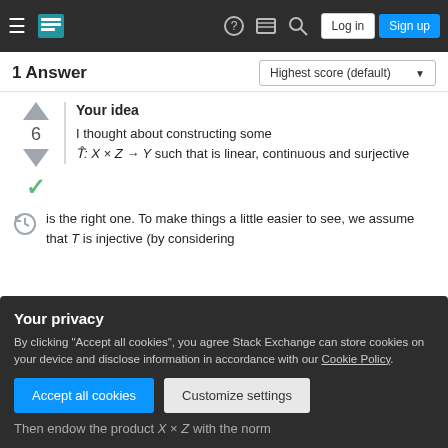Stack Exchange navigation bar with hamburger menu, logo, help, chat, search, Log in, Sign up buttons
1 Answer
Highest score (default)
Your idea
I thought about constructing some T̂: X × Z → Y such that is linear, continuous and surjective
is the right one. To make things a little easier to see, we assume that T is injective (by considering
Your privacy
By clicking "Accept all cookies", you agree Stack Exchange can store cookies on your device and disclose information in accordance with our Cookie Policy.
Then endow the product X × Z with the norm